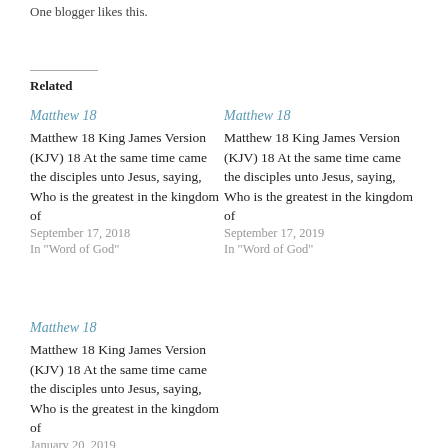One blogger likes this.
Related
Matthew 18
Matthew 18 King James Version (KJV) 18 At the same time came the disciples unto Jesus, saying, Who is the greatest in the kingdom of
September 17, 2018
In "Word of God"
Matthew 18
Matthew 18 King James Version (KJV) 18 At the same time came the disciples unto Jesus, saying, Who is the greatest in the kingdom of
September 17, 2019
In "Word of God"
Matthew 18
Matthew 18 King James Version (KJV) 18 At the same time came the disciples unto Jesus, saying, Who is the greatest in the kingdom of
January 20, 2019
In "Word of God"